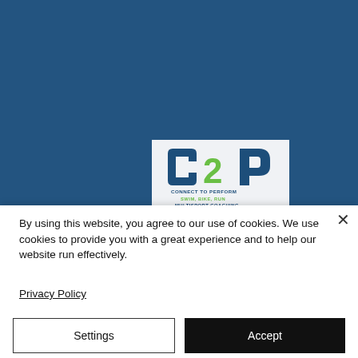[Figure (logo): C2P Connect To Perform logo — dark blue C and P letterforms with green 2, tagline SWIM, BIKE, RUN / MULTISPORT COACHING]
By using this website, you agree to our use of cookies. We use cookies to provide you with a great experience and to help our website run effectively.
Privacy Policy
Settings
Accept